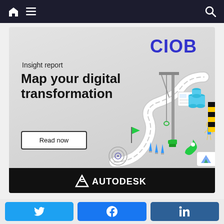Navigation bar with home, menu, and search icons
[Figure (infographic): CIOB Insight Report advertisement banner: 'Map your digital transformation' with construction illustration (crane, road, cones, barrels) and Read now button. Autodesk logo at bottom of banner.]
[Figure (infographic): Social sharing buttons: Twitter (bird icon), Facebook (f icon), LinkedIn (in icon)]